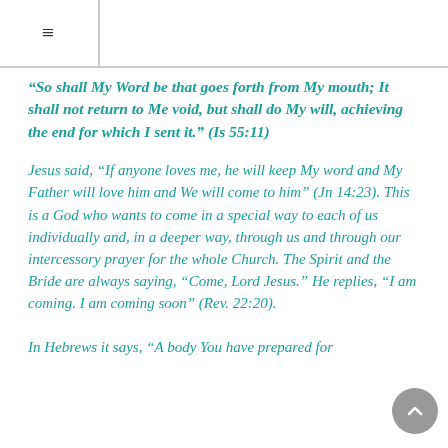☰
“So shall My Word be that goes forth from My mouth; It shall not return to Me void, but shall do My will, achieving the end for which I sent it.” (Is 55:11)
Jesus said, “If anyone loves me, he will keep My word and My Father will love him and We will come to him” (Jn 14:23). This is a God who wants to come in a special way to each of us individually and, in a deeper way, through us and through our intercessory prayer for the whole Church. The Spirit and the Bride are always saying, “Come, Lord Jesus.” He replies, “I am coming. I am coming soon” (Rev. 22:20).
In Hebrews it says, “A body You have prepared for